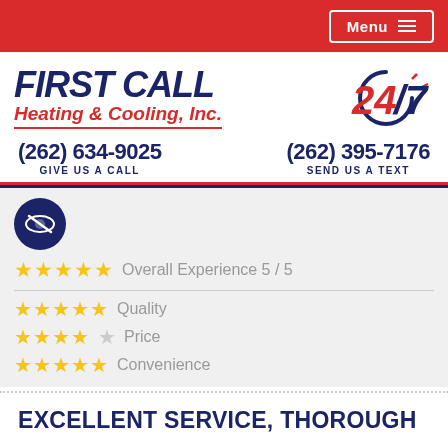Menu
[Figure (logo): First Call Heating & Cooling, Inc. logo with 24/7 badge]
(262) 634-9025 GIVE US A CALL    (262) 395-7176 SEND US A TEXT
[Figure (infographic): Review card showing Overall Experience 5/5 stars, Quality 5 stars, Price 4 stars, Convenience 5 stars with eye/privacy icon]
EXCELLENT SERVICE, THOROUGH